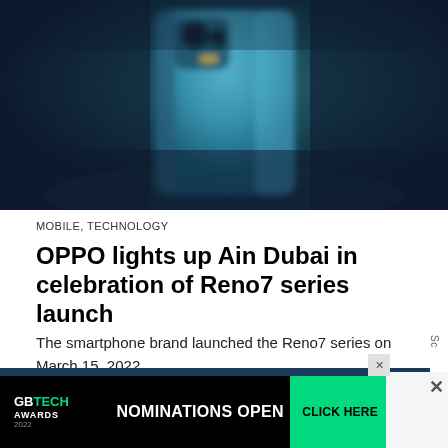[Figure (photo): Blurred teal/blue smartphone (OPPO Reno7) against a dark navy background, viewed from the back]
MOBILE, TECHNOLOGY
OPPO lights up Ain Dubai in celebration of Reno7 series launch
The smartphone brand launched the Reno7 series on March 15, 2022
[Figure (screenshot): GBTECH Awards 2022 advertisement banner: black background with GB TECH AWARDS logo in white and green, NOMINATIONS OPEN in white bold text, CLICK HERE button in green]